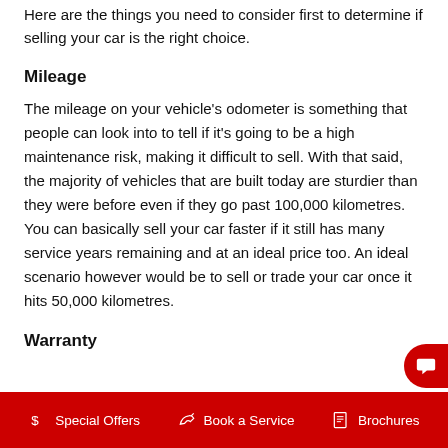Here are the things you need to consider first to determine if selling your car is the right choice.
Mileage
The mileage on your vehicle's odometer is something that people can look into to tell if it's going to be a high maintenance risk, making it difficult to sell. With that said, the majority of vehicles that are built today are sturdier than they were before even if they go past 100,000 kilometres. You can basically sell your car faster if it still has many service years remaining and at an ideal price too. An ideal scenario however would be to sell or trade your car once it hits 50,000 kilometres.
Warranty
Special Offers   Book a Service   Brochures